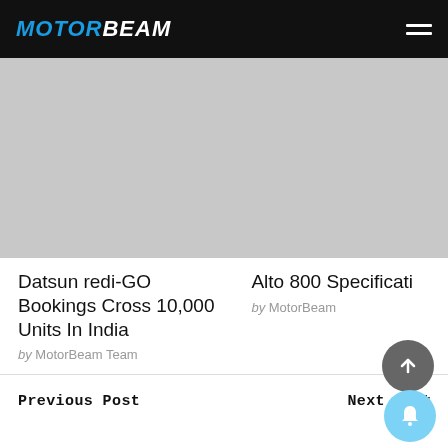MOTORBEAM
[Figure (photo): Placeholder image for Datsun redi-GO article]
Datsun redi-GO Bookings Cross 10,000 Units In India
by MotorBeam Team
[Figure (photo): Placeholder image for Alto 800 article (partially visible)]
Alto 800 Specificati…
by MotorBeam
Previous Post
Next Post